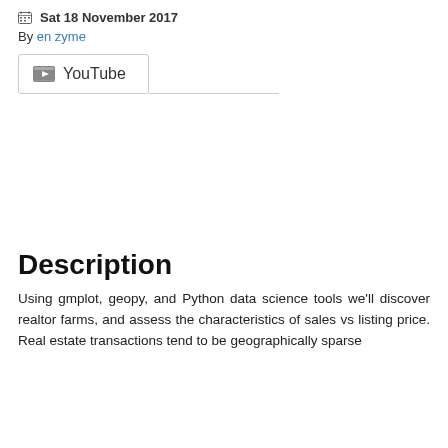Sat 18 November 2017
By en zyme
[Figure (other): YouTube tab/button element with YouTube icon and label]
Description
Using gmplot, geopy, and Python data science tools we'll discover realtor farms, and assess the characteristics of sales vs listing price. Real estate transactions tend to be geographically sparse